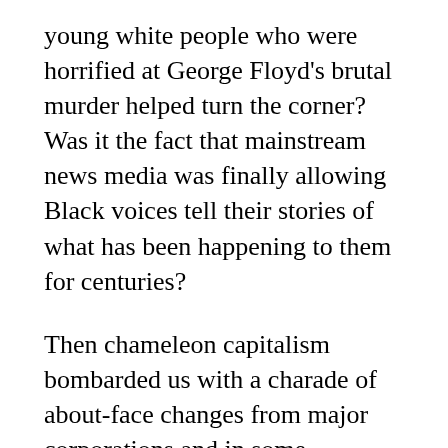young white people who were horrified at George Floyd's brutal murder helped turn the corner? Was it the fact that mainstream news media was finally allowing Black voices tell their stories of what has been happening to them for centuries?
Then chameleon capitalism bombarded us with a charade of about-face changes from major corporations and in some localities, the police, seeking to “join” and support the movement without any transparency on what lies beneath these face changes. Unprecedented support has to be welcomed with a very large grain of salt.